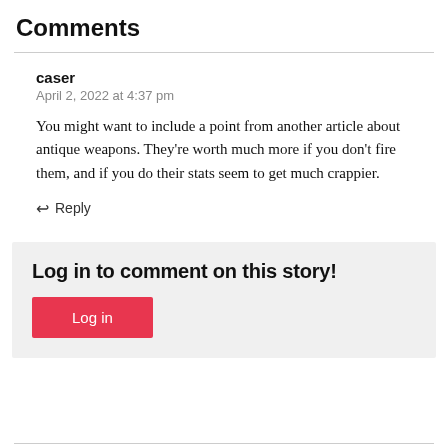Comments
caser
April 2, 2022 at 4:37 pm
You might want to include a point from another article about antique weapons. They're worth much more if you don't fire them, and if you do their stats seem to get much crappier.
↩ Reply
Log in to comment on this story!
Log in